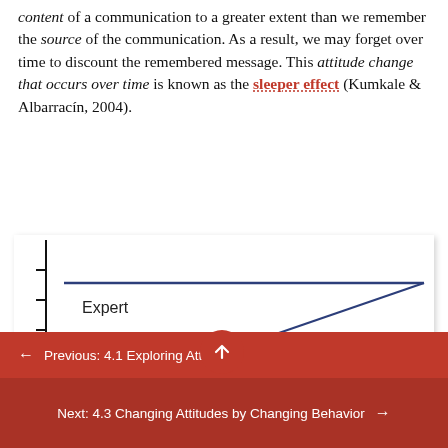content of a communication to a greater extent than we remember the source of the communication. As a result, we may forget over time to discount the remembered message. This attitude change that occurs over time is known as the sleeper effect (Kumkale & Albarracín, 2004).
[Figure (line-chart): Partial line chart showing 'Expert' label with a horizontal line and a diagonal rising blue line, with a red circular up-arrow button overlay. Y-axis labeled 'de' visible at bottom left.]
← Previous: 4.1 Exploring Attitudes
Next: 4.3 Changing Attitudes by Changing Behavior →